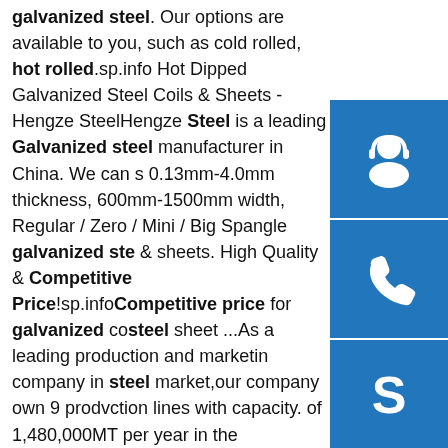galvanized steel. Our options are available to you, such as cold rolled, hot rolled.sp.info Hot Dipped Galvanized Steel Coils & Sheets - Hengze SteelHengze Steel is a leading Galvanized steel manufacturer in China. We can s 0.13mm-4.0mm thickness, 600mm-1500mm width, Regular / Zero / Mini / Big Spangle galvanized ste & sheets. High Quality & Competitive Price!sp.infoCompetitive price for galvanized co steel sheet ...As a leading production and marketin company in steel market,our company own 9 prodvction lines with capacity. of 1,480,000MT per year in the GI,GL,CR,PPGI,PPGL and Galvanized & Pre-pain Corrugated sheets. With high quality and pretty competitive price. Over the past few years, we exported our goods to oversea marketsp.info Hot Dipped Galvanized Steel | Mobile, ALstructural carbon steel & Hot Dipped Galvanized Products. Order steel and aluminum products at competitive prices from Bay Steel Corp. We have a large stock of carbon steel, stainless steel, hot dipped galvanized steel, aluminum...
[Figure (illustration): Three blue square buttons stacked vertically on the right side: headset/support icon, phone icon, Skype icon]